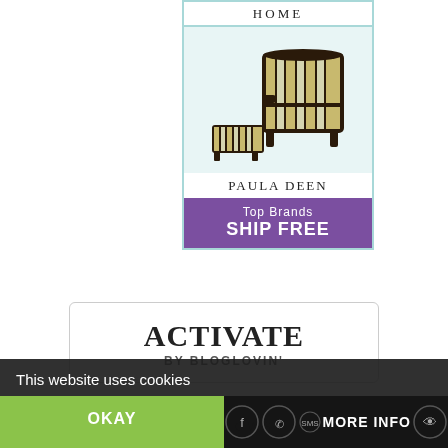[Figure (illustration): Advertisement banner for a home furniture store featuring Paula Deen brand. Shows 'HOME' text at top in serif font, a striped armchair with ottoman on a light teal background, 'PAULA DEEN' branding, and a purple strip reading 'Top Brands SHIP FREE'.]
[Figure (logo): ACTIVATE BY BLOGLOVIN' button/widget in a rounded-corner white box with border.]
SHEKNOWS
This website uses cookies
OKAY
MORE INFO